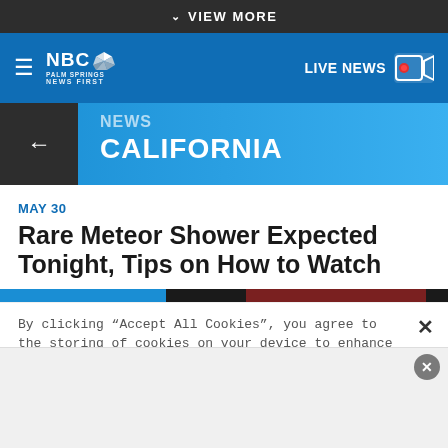VIEW MORE
[Figure (screenshot): NBC Palm Springs News First logo with peacock icon and LIVE NEWS button with camera icon in blue navigation bar]
NEWS
CALIFORNIA
MAY 30
Rare Meteor Shower Expected Tonight, Tips on How to Watch
By clicking “Accept All Cookies”, you agree to the storing of cookies on your device to enhance site navigation, analyze site usage, and assist in our